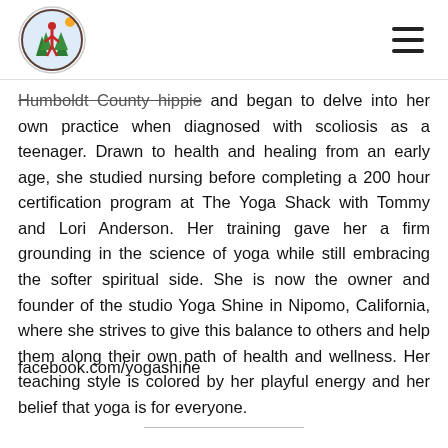Bear Bear Yoga Festival logo and navigation menu
Humboldt County hippie and began to delve into her own practice when diagnosed with scoliosis as a teenager. Drawn to health and healing from an early age, she studied nursing before completing a 200 hour certification program at The Yoga Shack with Tommy and Lori Anderson. Her training gave her a firm grounding in the science of yoga while still embracing the softer spiritual side. She is now the owner and founder of the studio Yoga Shine in Nipomo, California, where she strives to give this balance to others and help them along their own path of health and wellness. Her teaching style is colored by her playful energy and her belief that yoga is for everyone.
facebook.com/yogashine